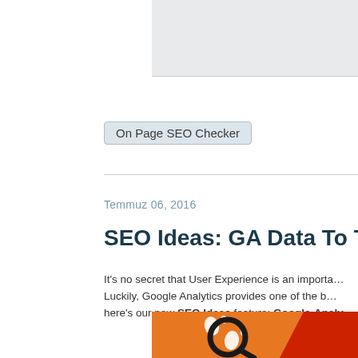[Figure (screenshot): Partial screenshot of a web interface, light grey background, cropped at top]
On Page SEO Checker
Temmuz 06, 2016
SEO Ideas: GA Data To Trac…
It's no secret that User Experience is an importa… Luckily, Google Analytics provides one of the b… here's our new SEO Ideas feature: Google-Analy…
[Figure (illustration): Orange background illustration with white footprint icons and a magnifier/lens graphic, with a red diagonal stripe on the right]